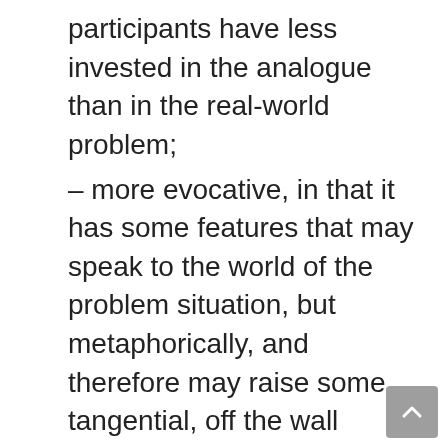participants have less invested in the analogue than in the real-world problem;
– more evocative, in that it has some features that may speak to the world of the problem situation, but metaphorically, and therefore may raise some tangential, off the wall perspectives;
– safer to use for experimentation (mental or tangible) – in other words, a boundary object can be manipulated without fear of intervening in the real situation;
– sufficiently outside the expertise of all participants that consideration of the boundary object requires